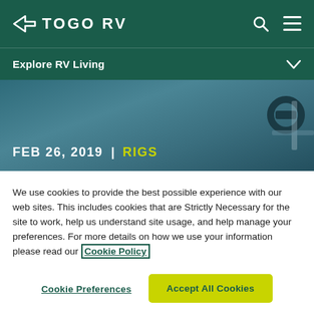TOGO RV
Explore RV Living
[Figure (photo): Dark teal/blue background hero image showing RV or outdoor equipment, with date and category overlay: FEB 26, 2019 | RIGS]
We use cookies to provide the best possible experience with our web sites. This includes cookies that are Strictly Necessary for the site to work, help us understand site usage, and help manage your preferences. For more details on how we use your information please read our Cookie Policy
Cookie Preferences
Accept All Cookies